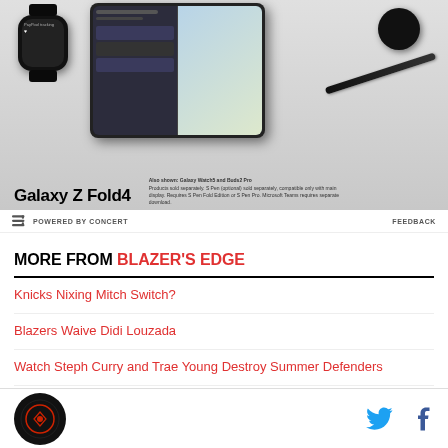[Figure (photo): Samsung Galaxy Z Fold4 advertisement showing the phone, a Galaxy Watch5, Buds2 Pro, and S Pen on a gray background. Text reads 'Galaxy Z Fold4' and disclaimer text about products sold separately.]
POWERED BY CONCERT    FEEDBACK
MORE FROM BLAZER'S EDGE
Knicks Nixing Mitch Switch?
Blazers Waive Didi Louzada
Watch Steph Curry and Trae Young Destroy Summer Defenders
Jerami Grant Will Be the Blazers Barometer This Season
Should the Blazers Target OKC Forward Kenrich
Blazer's Edge logo, Twitter icon, Facebook icon